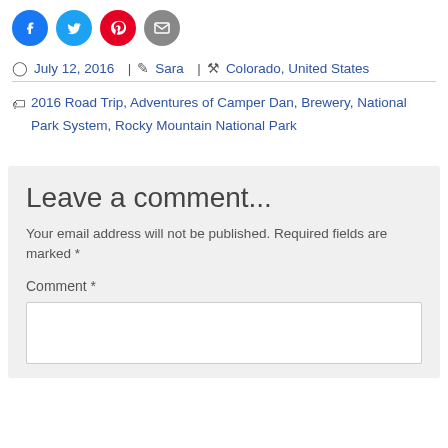[Figure (other): Social sharing icon buttons: Facebook (blue circle), Twitter (cyan circle), Pinterest (red circle), Email (gray circle)]
July 12, 2016 | Sara | Colorado, United States
2016 Road Trip, Adventures of Camper Dan, Brewery, National Park System, Rocky Mountain National Park
Leave a comment...
Your email address will not be published. Required fields are marked *
Comment *